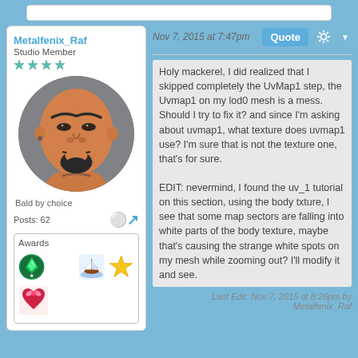Metalfenix_Raf
Studio Member
[Figure (photo): 3D rendered bald male avatar with goatee beard, angry expression, in a circular frame]
Bald by choice
Posts: 62
Awards
[Figure (illustration): Award icons: Sims plumbob, Welcome badge, sailing boat, gold star, red heart with bow]
Nov 7, 2015 at 7:47pm
Holy mackerel, I did realized that I skipped completely the UvMap1 step, the Uvmap1 on my lod0 mesh is a mess. Should I try to fix it? and since I'm asking about uvmap1, what texture does uvmap1 use? I'm sure that is not the texture one, that's for sure.

EDIT: nevermind, I found the uv_1 tutorial on this section, using the body txture, I see that some map sectors are falling into white parts of the body texture, maybe that's causing the strange white spots on my mesh while zooming out? I'll modify it and see.
Last Edit: Nov 7, 2015 at 8:26pm by Metalfenix_Raf